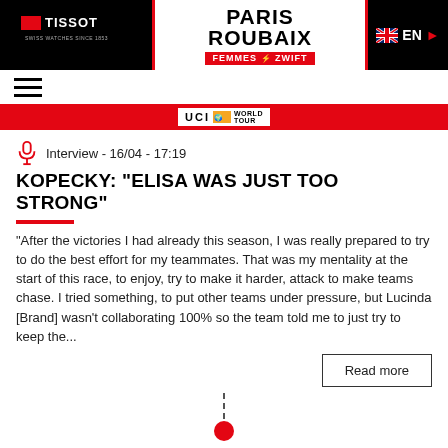[Figure (logo): Tissot logo in white on black background with text TISSOT SWISS WATCHES SINCE 1853]
[Figure (logo): Paris Roubaix Femmes avec Zwift logo]
[Figure (logo): UK flag with EN text and right arrow on black background]
[Figure (infographic): Hamburger menu icon (three horizontal lines)]
[Figure (infographic): Red strip with UCI World Tour badge]
Interview - 16/04 - 17:19
KOPECKY: “ELISA WAS JUST TOO STRONG”
"After the victories I had already this season, I was really prepared to try to do the best effort for my teammates. That was my mentality at the start of this race, to enjoy, try to make it harder, attack to make teams chase. I tried something, to put other teams under pressure, but Lucinda [Brand] wasn’t collaborating 100% so the team told me to just try to keep the...
Read more
Interview - 16/04 - 17:14
ELISA LONGO BORGHINI: “FROM DANTESQUE HELL TO PARADISE”